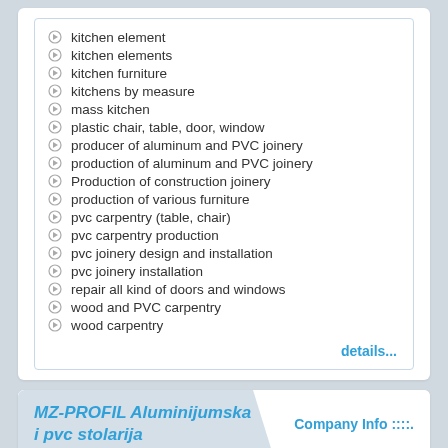kitchen element
kitchen elements
kitchen furniture
kitchens by measure
mass kitchen
plastic chair, table, door, window
producer of aluminum and PVC joinery
production of aluminum and PVC joinery
Production of construction joinery
production of various furniture
pvc carpentry (table, chair)
pvc carpentry production
pvc joinery design and installation
pvc joinery installation
repair all kind of doors and windows
wood and PVC carpentry
wood carpentry
details...
MZ-PROFIL Aluminijumska i pvc stolarija
Company Info ::::.
Đure Jakšića 65